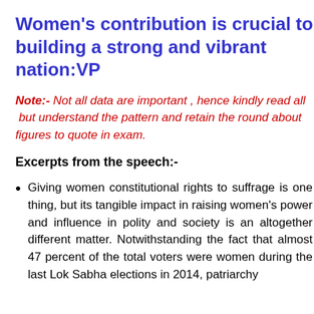Women's contribution is crucial to building a strong and vibrant nation:VP
Note:- Not all data are important , hence kindly read all  but understand the pattern and retain the round about figures to quote in exam.
Excerpts from the speech:-
Giving women constitutional rights to suffrage is one thing, but its tangible impact in raising women's power and influence in polity and society is an altogether different matter. Notwithstanding the fact that almost 47 percent of the total voters were women during the last Lok Sabha elections in 2014, patriarchy